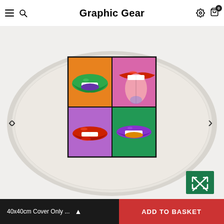Graphic Gear
[Figure (photo): E-commerce product page showing a decorative cushion/pillow with pop-art style illustration of four different mouths/lips in a 2x2 grid. Top-left: green lips on orange background; Top-right: red lips with tongue out on pink background; Bottom-left: red lips on purple background; Bottom-right: purple lips on green background. Navigation arrows on left and right. Expand button in bottom-right corner.]
40x40cm Cover Only ...
ADD TO BASKET